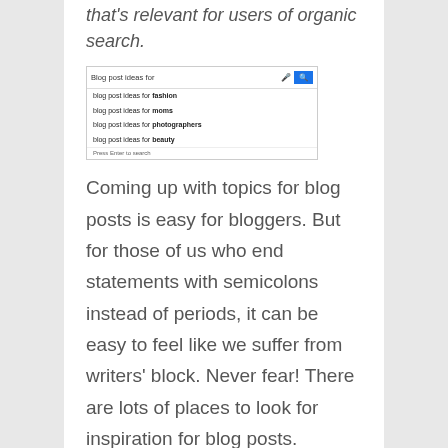that's relevant for users of organic search.
[Figure (screenshot): Google search autocomplete screenshot showing 'Blog post ideas for' with suggestions: blog post ideas for fashion, blog post ideas for moms, blog post ideas for photographers, blog post ideas for beauty. Press Enter to search shown at bottom.]
Coming up with topics for blog posts is easy for bloggers. But for those of us who end statements with semicolons instead of periods, it can be easy to feel like we suffer from writers' block. Never fear! There are lots of places to look for inspiration for blog posts.